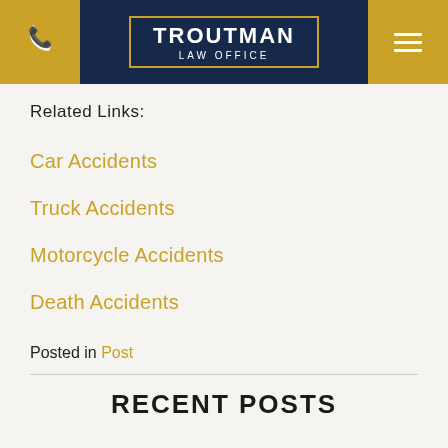[Figure (logo): Troutman Law Office header with phone icon on left, logo in center with gold border, hamburger menu icon on right, all on dark navy background]
Related Links:
Car Accidents
Truck Accidents
Motorcycle Accidents
Death Accidents
Posted in Post
RECENT POSTS